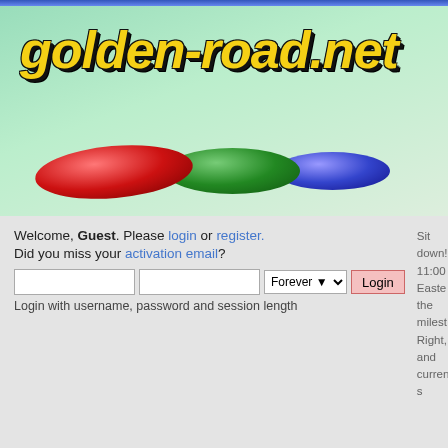[Figure (logo): golden-road.net website logo with yellow stylized text and colored disc decorations (red, green, blue) on a green gradient background]
Welcome, Guest. Please login or register. Did you miss your activation email?
Login with username, password and session length
Sit down! 0 11:00 Easte the milest Right, and currently s
Home  Golden Gallery  FAQ  Login
Golden-Road.net » Front Office » The Front Office (Moderators: Marc, ClockGam
Pages: [1]  Go Down